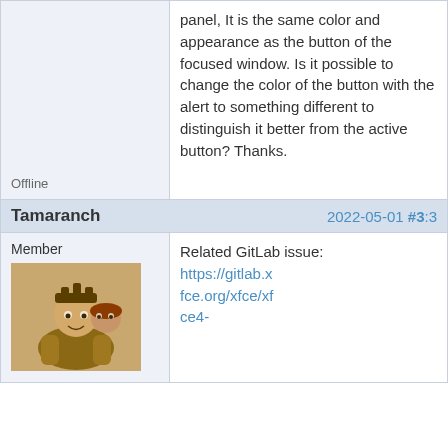panel, It is the same color and appearance as the button of the focused window. Is it possible to change the color of the button with the alert to something different to distinguish it better from the active button? Thanks.
Offline
Tamaranch
2022-05-01 #3:3
Member
Related GitLab issue: https://gitlab.xfce.org/xfce/xfce4-